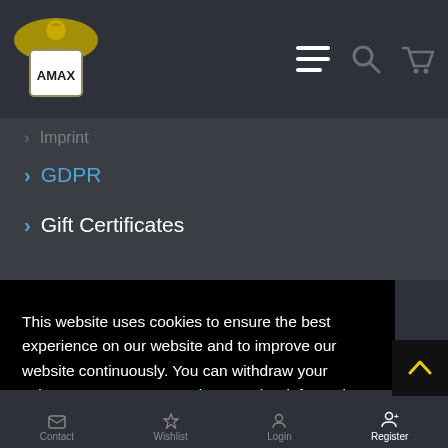AMAX website header with logo, hamburger menu, search and cart icons
Imprint
GDPR
Gift Certificates
This website uses cookies to ensure the best experience on our website and to improve our website continuously. You can withdraw your voluntary consent at any time. Further information and setting options can be found under "Preferences" and in our
Privacy Policy
Preferences
Accept
Contact   Wishlist   Login   Register